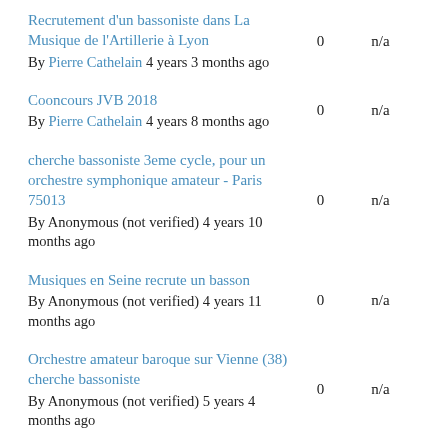Recrutement d'un bassoniste dans La Musique de l'Artillerie à Lyon
By Pierre Cathelain 4 years 3 months ago
0
n/a
Cooncours JVB 2018
By Pierre Cathelain 4 years 8 months ago
0
n/a
cherche bassoniste 3eme cycle, pour un orchestre symphonique amateur - Paris 75013
By Anonymous (not verified) 4 years 10 months ago
0
n/a
Musiques en Seine recrute un basson
By Anonymous (not verified) 4 years 11 months ago
0
n/a
Orchestre amateur baroque sur Vienne (38) cherche bassoniste
By Anonymous (not verified) 5 years 4 months ago
0
n/a
Recherche professeur de Basson / Région de Sète
By CICERO 5 years 4 months ago
0
n/a